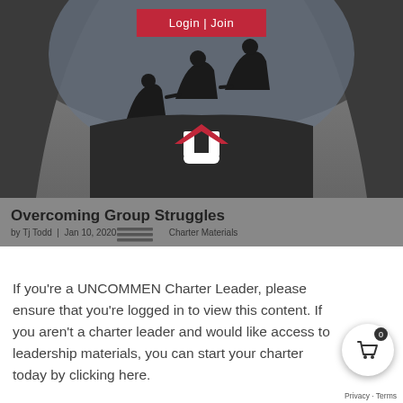[Figure (screenshot): Hero image with dark cave/silhouette background, a Login | Join red button at top, and the UNCOMMEN logo (white U with red chevron) centered in the image]
Login | Join
Overcoming Group Struggles
by Tj Todd | Jan 10, 2020 | Charter Materials
If you're a UNCOMMEN Charter Leader, please ensure that you're logged in to view this content. If you aren't a charter leader and would like access to leadership materials, you can start your charter today by clicking here.